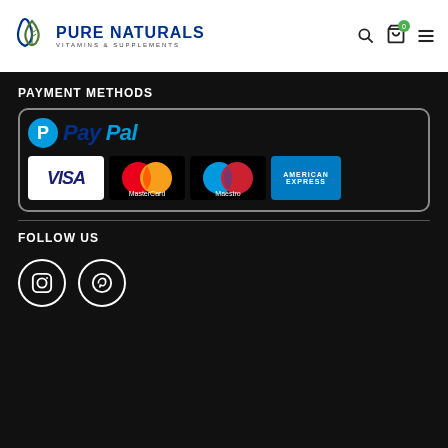Pure Naturals Vitamins & Supplements
PAYMENT METHODS
[Figure (logo): PayPal logo with P icon and PayPal text in blue]
[Figure (infographic): Payment method logos: VISA, MasterCard, Maestro, American Express inside a rounded rectangle border]
FOLLOW US
[Figure (infographic): Instagram and Pinterest social media icons (circle outlines with icons inside)]